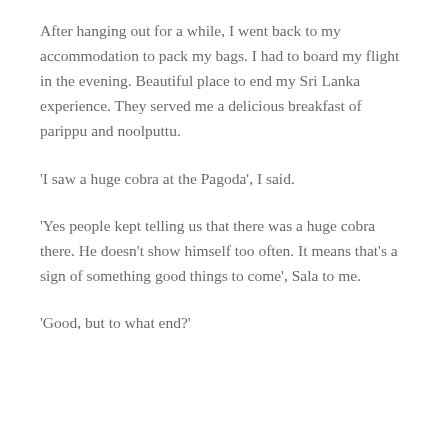After hanging out for a while, I went back to my accommodation to pack my bags. I had to board my flight in the evening. Beautiful place to end my Sri Lanka experience. They served me a delicious breakfast of parippu and noolputtu.
'I saw a huge cobra at the Pagoda', I said.
'Yes people kept telling us that there was a huge cobra there. He doesn't show himself too often. It means that's a sign of something good things to come', Sala to me.
'Good, but to what end?'